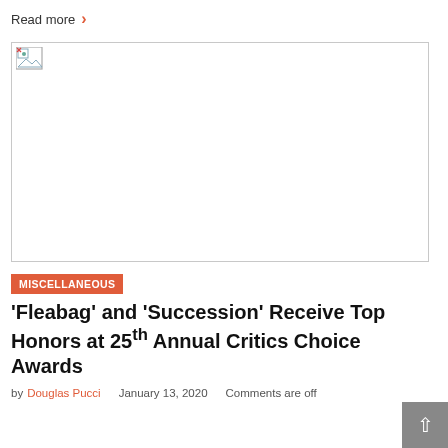Read more ›
[Figure (photo): Broken/missing image placeholder with border and small image icon in top-left corner]
MISCELLANEOUS
'Fleabag' and 'Succession' Receive Top Honors at 25th Annual Critics Choice Awards
by Douglas Pucci   January 13, 2020   Comments are off